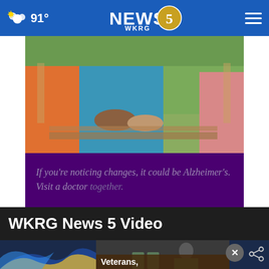91° NEWS 5 WKRG
[Figure (photo): Advertisement image showing three women sitting together outdoors, one in a blue outfit, one in orange, holding hands. Below the photo is a purple panel with text: 'If you're noticing changes, it could be Alzheimer's. Visit a doctor together.']
WKRG News 5 Video
[Figure (screenshot): Video section preview showing a WKRG News 5 broadcast thumbnail with swirl graphics on the left, a close (X) button, a share button, and a video thumbnail labeled 'Veterans,' showing a person in military attire.]